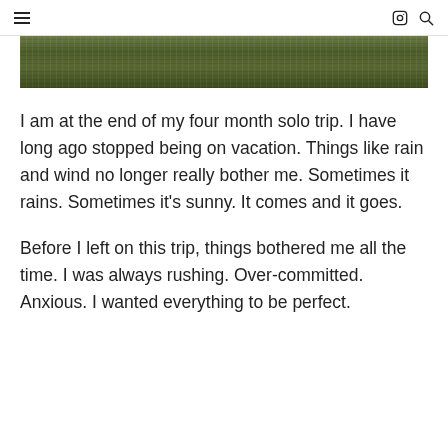≡  [instagram icon] [search icon]
[Figure (photo): Cropped outdoor photo showing green foliage or grass texture, dark olive/forest green tones with horizontal streaks.]
I am at the end of my four month solo trip. I have long ago stopped being on vacation. Things like rain and wind no longer really bother me. Sometimes it rains. Sometimes it's sunny. It comes and it goes.
Before I left on this trip, things bothered me all the time. I was always rushing. Over-committed. Anxious. I wanted everything to be perfect.